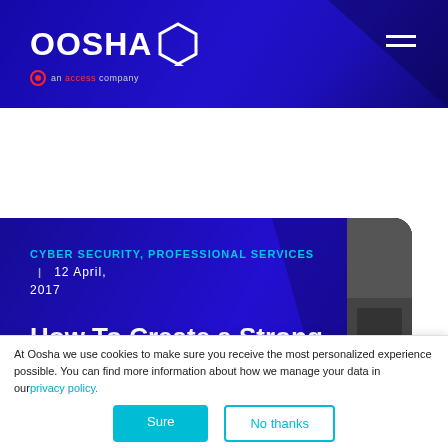[Figure (logo): OOSHA logo with hexagon icon and 'an access company' tagline in white on dark blue header]
CYBER SECURITY, PROFESSIONAL SERVICES  |  12 April, 2017
How To Create a Strong
At Oosha we use cookies to make sure you receive the most personalized experience possible. You can find more information about how we manage your data in our privacy policy.
Sure
No thanks